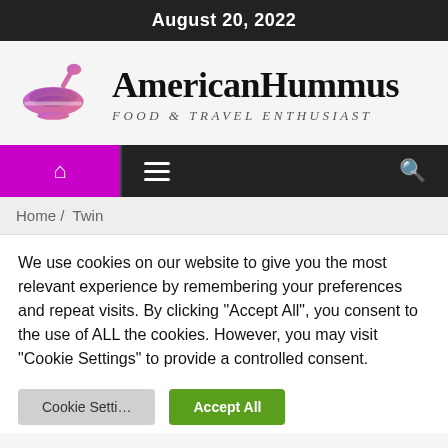August 20, 2022
[Figure (logo): AmericanHummus logo with bowl icon and text 'AmericanHummus FOOD & TRAVEL ENTHUSIAST']
[Figure (screenshot): Navigation bar with purple home icon, hamburger menu, and search icon on dark background]
Home / Twin
We use cookies on our website to give you the most relevant experience by remembering your preferences and repeat visits. By clicking "Accept All", you consent to the use of ALL the cookies. However, you may visit "Cookie Settings" to provide a controlled consent.